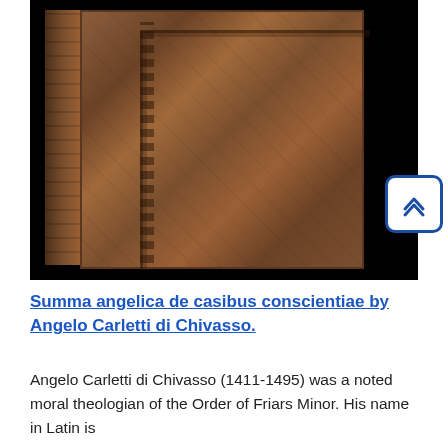[Figure (photo): A photograph of an antique bound book — 'Summa angelica de casibus conscientiae' — showing the decorated brown leather cover and spine against a black background. The cover has ornate embossed patterns and borders.]
Summa angelica de casibus conscientiae by Angelo Carletti di Chivasso.
Angelo Carletti di Chivasso (1411-1495) was a noted moral theologian of the Order of Friars Minor. His name in Latin is called by some Angelus de Clavasio (Clavasio being the Latin